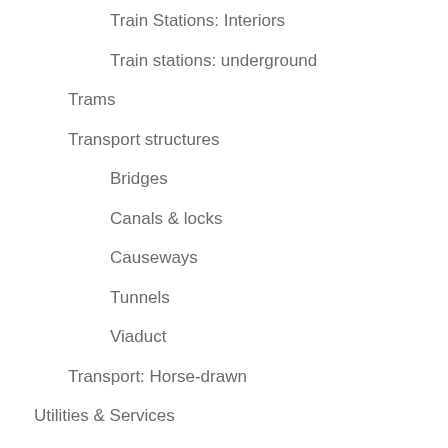Train Stations: Interiors
Train stations: underground
Trams
Transport structures
Bridges
Canals & locks
Causeways
Tunnels
Viaduct
Transport: Horse-drawn
Utilities & Services
Electricity
Telephone & telegraphs
Water
Aqueducts
Well
War & Military